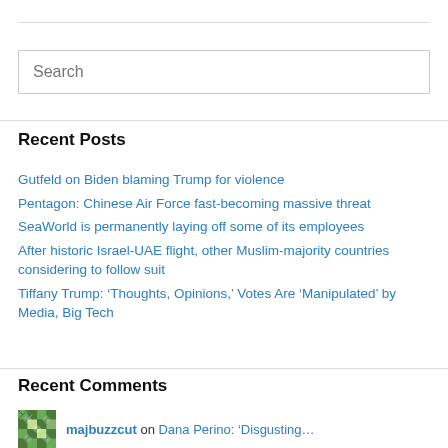Search
Recent Posts
Gutfeld on Biden blaming Trump for violence
Pentagon: Chinese Air Force fast-becoming massive threat
SeaWorld is permanently laying off some of its employees
After historic Israel-UAE flight, other Muslim-majority countries considering to follow suit
Tiffany Trump: ‘Thoughts, Opinions,’ Votes Are ‘Manipulated’ by Media, Big Tech
Recent Comments
majbuzzcut on Dana Perino: ‘Disgusting…